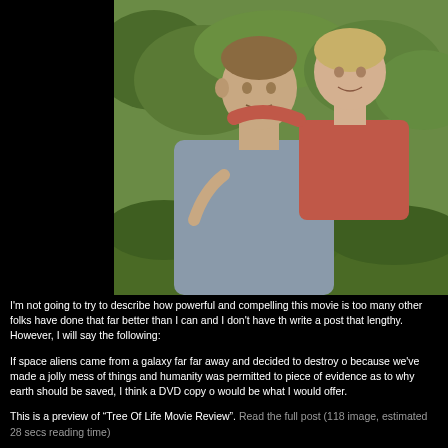[Figure (photo): A man (adult) with a young boy on his back, both outdoors with green foliage background. The boy has his arms around the man's neck. The man wears a gray shirt; the boy wears a red/pink shirt.]
I'm not going to try to describe how powerful and compelling this movie is too many other folks have done that far better than I can and I don't have th write a post that lengthy. However, I will say the following:
If space aliens came from a galaxy far far away and decided to destroy o because we've made a jolly mess of things and humanity was permitted to piece of evidence as to why earth should be saved, I think a DVD copy o would be what I would offer.
This is a preview of “Tree Of Life Movie Review”. Read the full post (118 image, estimated 28 secs reading time)